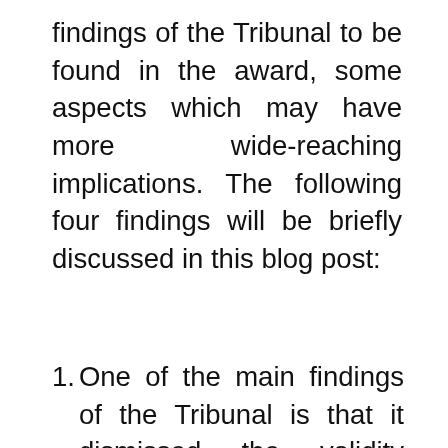findings of the Tribunal to be found in the award, some aspects which may have more wide-reaching implications. The following four findings will be briefly discussed in this blog post:
One of the main findings of the Tribunal is that it dismissed the validity under international law of the Chinese 'nine-dash line'. The specifics of the nine-dash line have never been really
Privacy & Cookies: This site uses cookies. By continuing to use this website, you agree to their use. To find out more, including how to control cookies, see here: Our Cookie Policy
Close and accept
to have some sort of a special historic